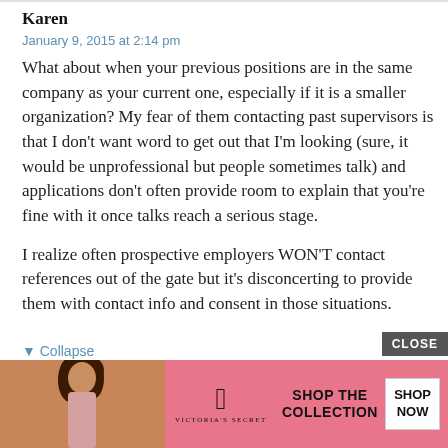Karen
January 9, 2015 at 2:14 pm
What about when your previous positions are in the same company as your current one, especially if it is a smaller organization? My fear of them contacting past supervisors is that I don’t want word to get out that I’m looking (sure, it would be unprofessional but people sometimes talk) and applications don’t often provide room to explain that you’re fine with it once talks reach a serious stage.
I realize often prospective employers WON’T contact references out of the gate but it’s disconcerting to provide them with contact info and consent in those situations.
▼ Collapse
[Figure (other): Victoria's Secret advertisement banner with a woman, VS logo, and SHOP THE COLLECTION / SHOP NOW button]